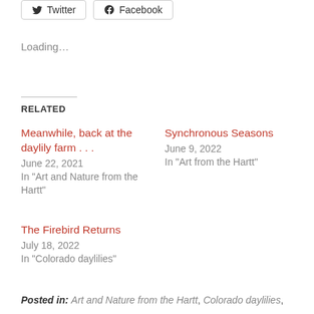Twitter  Facebook
Loading...
RELATED
Meanwhile, back at the daylily farm . . .
June 22, 2021
In "Art and Nature from the Hartt"
Synchronous Seasons
June 9, 2022
In "Art from the Hartt"
The Firebird Returns
July 18, 2022
In "Colorado daylilies"
Posted in: Art and Nature from the Hartt, Colorado daylilies,